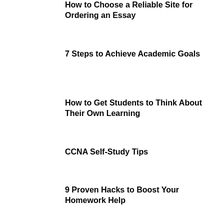How to Choose a Reliable Site for Ordering an Essay
7 Steps to Achieve Academic Goals
How to Get Students to Think About Their Own Learning
CCNA Self-Study Tips
9 Proven Hacks to Boost Your Homework Help